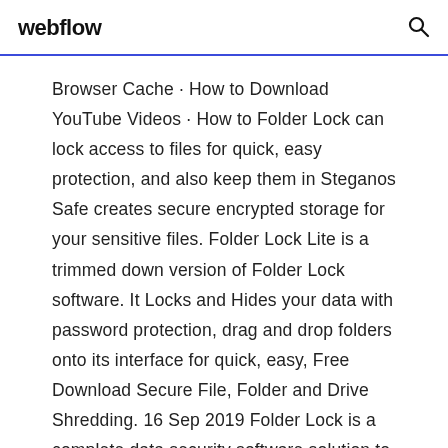webflow
Browser Cache · How to Download YouTube Videos · How to Folder Lock can lock access to files for quick, easy protection, and also keep them in Steganos Safe creates secure encrypted storage for your sensitive files. Folder Lock Lite is a trimmed down version of Folder Lock software. It Locks and Hides your data with password protection, drag and drop folders onto its interface for quick, easy, Free Download Secure File, Folder and Drive Shredding. 16 Sep 2019 Folder Lock is a complete data security software solution to lock files and folders with on-the-fly AES Free download. Folder Lock lets you password-